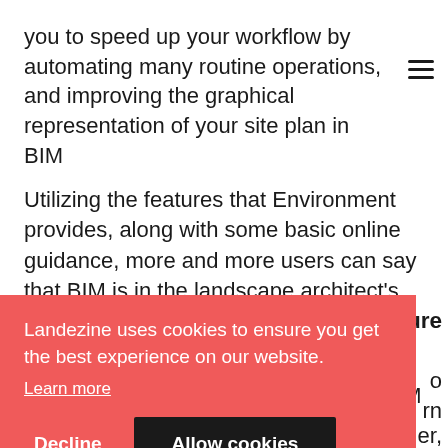you to speed up your workflow by automating many routine operations, and improving the graphical representation of your site plan in BIM
Utilizing the features that Environment provides, along with some basic online guidance, more and more users can say that BIM is in the landscape architect's tool belt at last.
[Figure (screenshot): Cookie consent overlay on Landezine website with red background. Contains text: 'Landezine uses cookies to ensure you get the best experience on our website.' with a 'Learn more' underlined link, and two buttons: 'Decline' and 'Allow cookies' (dark/black button).]
and more convenient than any other BIM or CAD